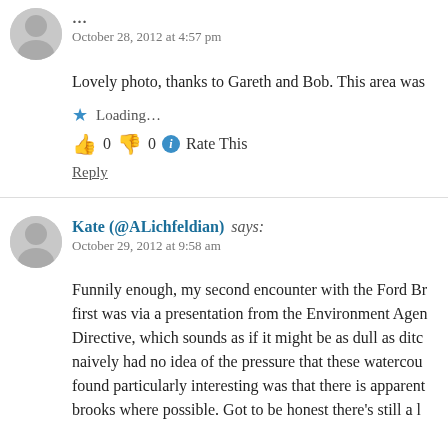October 28, 2012 at 4:57 pm
Lovely photo, thanks to Gareth and Bob. This area was
Loading...
👍 0 👎 0 ℹ Rate This
Reply
Kate (@ALichfeldian) says:
October 29, 2012 at 9:58 am
Funnily enough, my second encounter with the Ford Br first was via a presentation from the Environment Agen Directive, which sounds as if it might be as dull as ditc naively had no idea of the pressure that these watercou found particularly interesting was that there is apparent brooks where possible. Got to be honest there's still a l